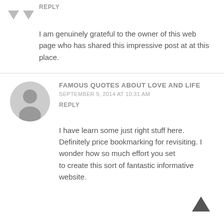[Figure (other): Two downward-pointing gray arrows (vote arrows) for a comment]
REPLY
I am genuinely grateful to the owner of this web page who has shared this impressive post at at this place.
[Figure (other): Gray circular avatar with person silhouette icon]
FAMOUS QUOTES ABOUT LOVE AND LIFE
SEPTEMBER 9, 2014 AT 10:31 AM
REPLY
I have learn some just right stuff here. Definitely price bookmarking for revisiting. I wonder how so much effort you set to create this sort of fantastic informative website.